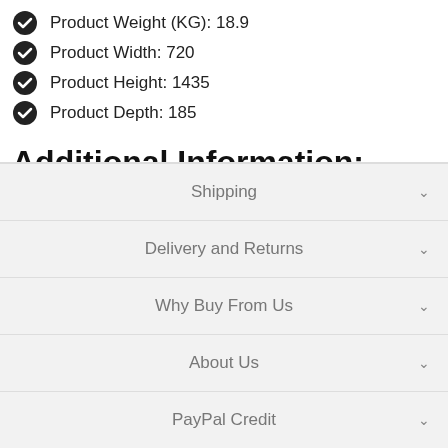Product Weight (KG): 18.9
Product Width: 720
Product Height: 1435
Product Depth: 185
Additional Information:
SKU: NCSR1
EAN: 5055369006779
Shipping
Delivery and Returns
Why Buy From Us
About Us
PayPal Credit